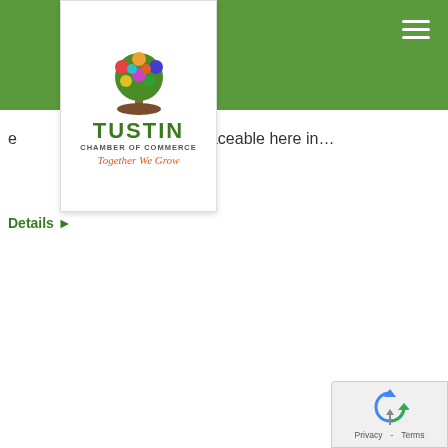[Figure (logo): Tustin Chamber of Commerce logo with colorful tree, text 'TUSTIN', 'CHAMBER OF COMMERCE', and tagline 'Together We Grow']
e… and are irreplaceable here in…
Details ▶
Nov
19
2021
[Figure (other): reCAPTCHA widget with recycle arrows icon, Privacy and Terms links]